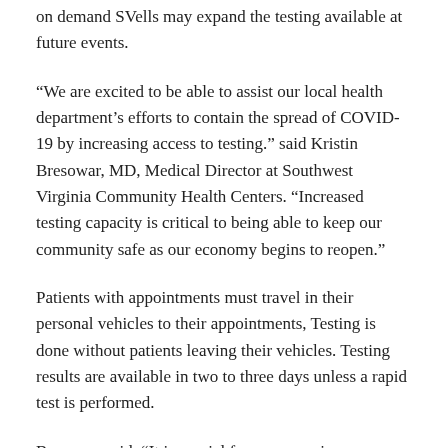on demand SVells may expand the testing available at future events.
“We are excited to be able to assist our local health department’s efforts to contain the spread of COVID-19 by increasing access to testing.” said Kristin Bresowar, MD, Medical Director at Southwest Virginia Community Health Centers. “Increased testing capacity is critical to being able to keep our community safe as our economy begins to reopen.”
Patients with appointments must travel in their personal vehicles to their appointments, Testing is done without patients leaving their vehicles. Testing results are available in two to three days unless a rapid test is performed.
Bresowar said. “It is crucial for everyone in our community to have access to testing to better protect themselves and their families at home.”